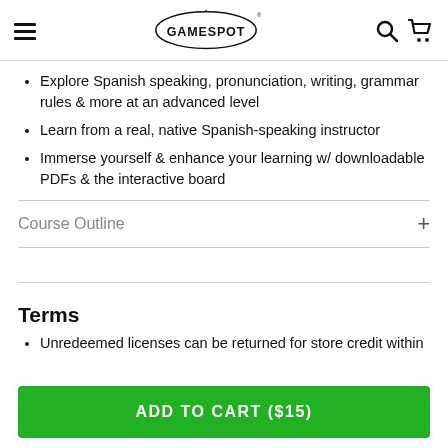GameSpot header with hamburger menu, logo, search and cart icons
Explore Spanish speaking, pronunciation, writing, grammar rules & more at an advanced level
Learn from a real, native Spanish-speaking instructor
Immerse yourself & enhance your learning w/ downloadable PDFs & the interactive board
Course Outline
Terms
Unredeemed licenses can be returned for store credit within
ADD TO CART ($15)